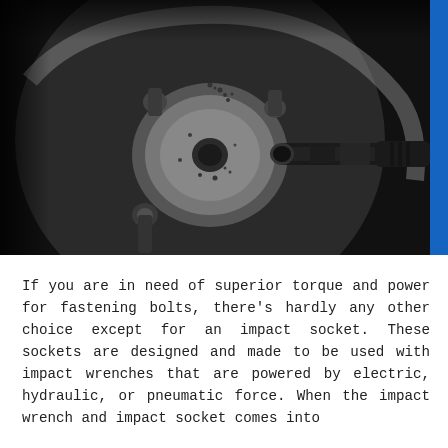[Figure (photo): Black and white close-up photograph of an impact socket being used on a wheel hub, showing the socket wrench tip engaging the center bolt/lug nut of a vehicle wheel rim, with multiple wheel studs visible around the hub.]
If you are in need of superior torque and power for fastening bolts, there's hardly any other choice except for an impact socket. These sockets are designed and made to be used with impact wrenches that are powered by electric, hydraulic, or pneumatic force. When the impact wrench and impact socket comes into